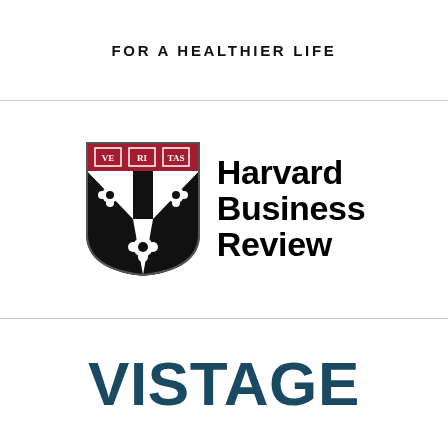FOR A HEALTHIER LIFE
[Figure (logo): Harvard Business Review logo with shield and wordmark]
[Figure (logo): VISTAGE logo in dark teal/navy bold text]